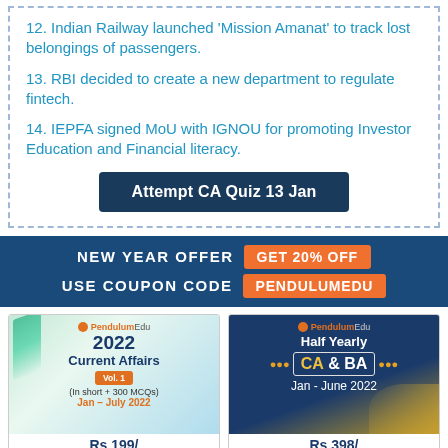12. Indian Railway launched 'Mission Amanat' to track lost belongings of passengers.
13. RBI decided to create a new department to regulate fintech.
14. IEPFA signed MoU with IGNOU for promoting Investor Education and Financial literacy.
Attempt CA Quiz 13 Jan
NEW YEAR OFFER  GET 20% OFF  USE COUPON CODE  PENDULUMEDU
[Figure (illustration): PendulumEdu 2022 Current Affairs Vol. 1 (In short + 300 MCQs) Jan – July 2022 book cover]
[Figure (illustration): PendulumEdu Half Yearly CA & BA Jan - June 2022 book cover]
Rs 199/
Rs 398/